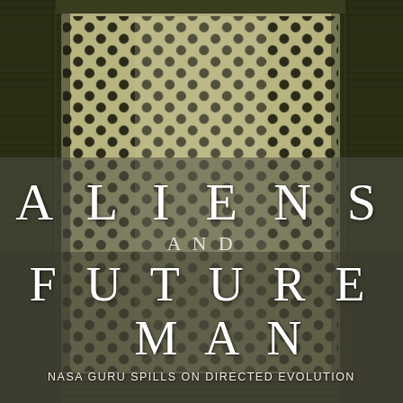[Figure (photo): Aerial photograph of a crop circle formation in a field. The circle features an intricate diamond/net grid pattern of flattened crops creating a mosaic of dark holes against lighter flattened grain. The image is in muted olive-green and dark tones, viewed from directly above.]
ALIENS AND FUTURE MAN
NASA GURU SPILLS ON DIRECTED EVOLUTION